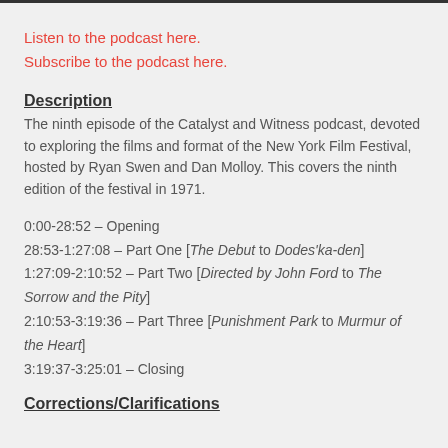Listen to the podcast here.
Subscribe to the podcast here.
Description
The ninth episode of the Catalyst and Witness podcast, devoted to exploring the films and format of the New York Film Festival, hosted by Ryan Swen and Dan Molloy. This covers the ninth edition of the festival in 1971.
0:00-28:52 – Opening
28:53-1:27:08 – Part One [The Debut to Dodes'ka-den]
1:27:09-2:10:52 – Part Two [Directed by John Ford to The Sorrow and the Pity]
2:10:53-3:19:36 – Part Three [Punishment Park to Murmur of the Heart]
3:19:37-3:25:01 – Closing
Corrections/Clarifications